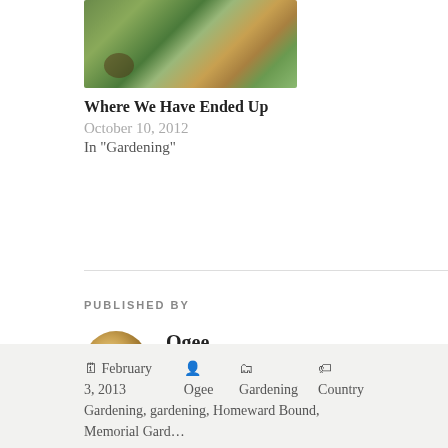[Figure (photo): Garden photo with green plants, colorful flowers and foliage]
Where We Have Ended Up
October 10, 2012
In "Gardening"
PUBLISHED BY
[Figure (photo): Circular avatar photo of a golden dog]
Ogee
I am a nascent gardener, rescuer, and photographer, chronicling the journey of the dogs at Homeward Bound Golden Retriever Rescue and Sanctuary near Sacramento, CA - and the Memorial Garden we have devoted to them. View all posts by Ogee →
February 3, 2013  Ogee  Gardening  Country Gardening, gardening, Homeward Bound, Memorial Garden